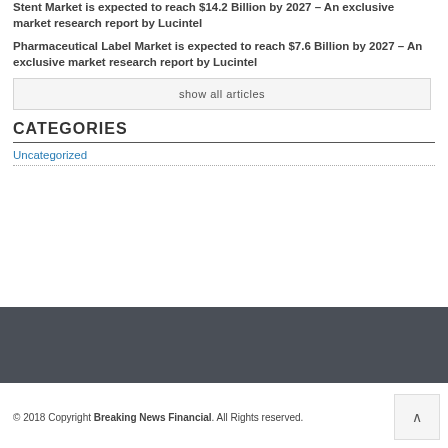Stent Market is expected to reach $14.2 Billion by 2027 – An exclusive market research report by Lucintel
Pharmaceutical Label Market is expected to reach $7.6 Billion by 2027 – An exclusive market research report by Lucintel
show all articles
CATEGORIES
Uncategorized
© 2018 Copyright Breaking News Financial. All Rights reserved.